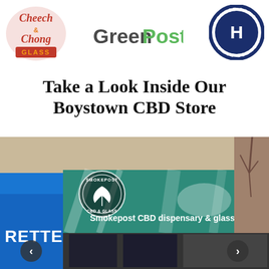[Figure (logo): Cheech & Chong Glass logo - red and orange stylized text with GLASS below]
[Figure (logo): GreenPost logo - Green in dark gray, Post in green]
[Figure (logo): Honest Paws logo - circular badge with H in center, dark navy blue]
Take a Look Inside Our Boystown CBD Store
[Figure (photo): Exterior photo of Smokepost CBD dispensary & glass gallery store with teal/green awning showing cannabis leaf logo and store signage]